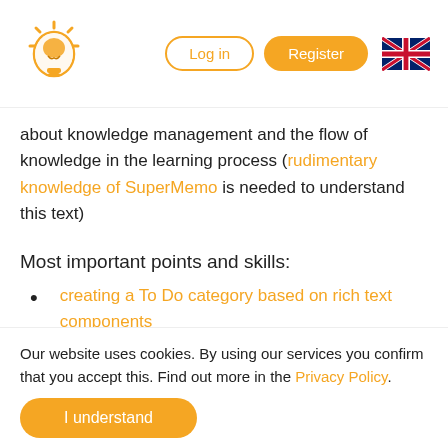Log in | Register
about knowledge management and the flow of knowledge in the learning process (rudimentary knowledge of SuperMemo is needed to understand this text)
Most important points and skills:
creating a To Do category based on rich text components
examples of content-related knowledge processing that goes in parallel with the learning process (gray inserts: Step 1, Step 2, and Step 3)
constructing occlusion tests
understanding the multidimensional flow of
Our website uses cookies. By using our services you confirm that you accept this. Find out more in the Privacy Policy.
I understand